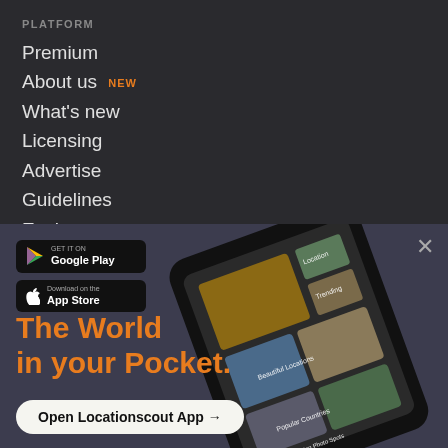PLATFORM
Premium
About us NEW
What's new
Licensing
Advertise
Guidelines
Environment
[Figure (screenshot): Smartphone showing the Locationscout app interface with travel photo categories: Beautiful Locations, Popular Countries, Inspiring Photo Spots, and Location and Trending sections.]
The World in your Pocket.
Open Locationscout App →